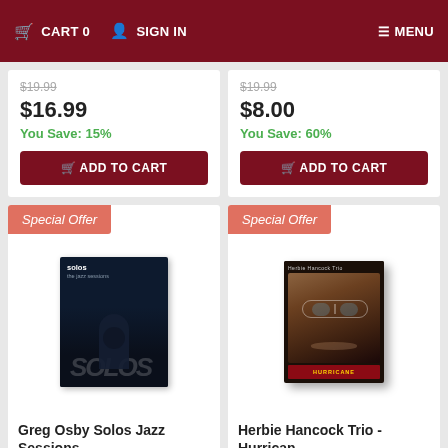CART 0  SIGN IN  MENU
$19.99
$16.99
You Save: 15%
ADD TO CART
$19.99
$8.00
You Save: 60%
ADD TO CART
[Figure (photo): Special Offer badge with Greg Osby Solos Jazz Sessions album cover - dark moody jazz album artwork]
Greg Osby Solos Jazz Sessions
[Figure (photo): Special Offer badge with Herbie Hancock Trio Hurricane album cover showing Herbie Hancock's face]
Herbie Hancock Trio - Hurrican